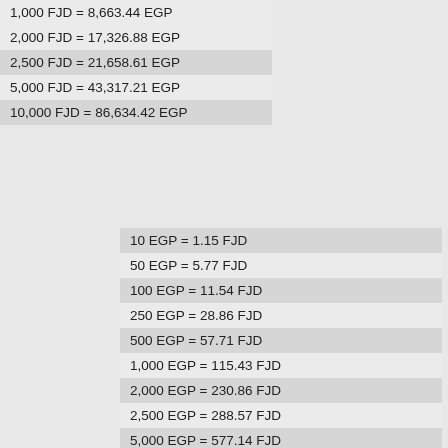| 1,000 FJD = 8,663.44 EGP |
| 2,000 FJD = 17,326.88 EGP |
| 2,500 FJD = 21,658.61 EGP |
| 5,000 FJD = 43,317.21 EGP |
| 10,000 FJD = 86,634.42 EGP |
| 10 EGP = 1.15 FJD |
| 50 EGP = 5.77 FJD |
| 100 EGP = 11.54 FJD |
| 250 EGP = 28.86 FJD |
| 500 EGP = 57.71 FJD |
| 1,000 EGP = 115.43 FJD |
| 2,000 EGP = 230.86 FJD |
| 2,500 EGP = 288.57 FJD |
| 5,000 EGP = 577.14 FJD |
| 10,000 EGP = 1,154.28 FJD |
| 20,000 EGP = 2,308.55 FJD |
| 50,000 EGP = 5,771.38 FJD |
| 100,000 EGP = 11,542.76 FJD |
| 250,000 EGP = 28,856.89 FJD |
| 500,000 EGP = 57,713.78 FJD |